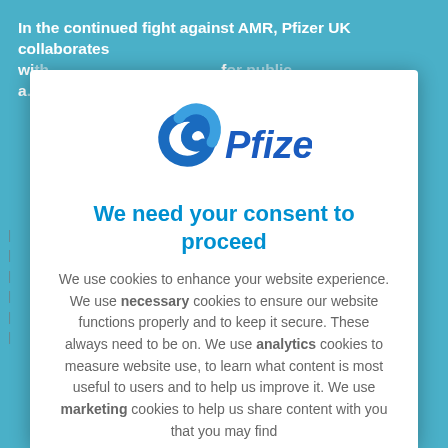In the continued fight against AMR, Pfizer UK collaborates with... and the environment for public...
[Figure (logo): Pfizer logo with blue swirl icon and 'Pfizer' text in blue]
We need your consent to proceed
We use cookies to enhance your website experience. We use necessary cookies to ensure our website functions properly and to keep it secure. These always need to be on. We use analytics cookies to measure website use, to learn what content is most useful to users and to help us improve it. We use marketing cookies to help us share content with you that you may find